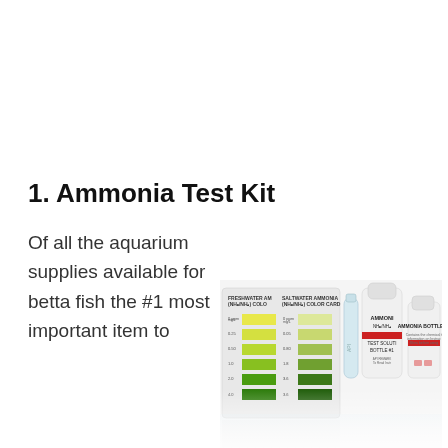1. Ammonia Test Kit
Of all the aquarium supplies available for betta fish the #1 most important item to
[Figure (photo): Ammonia test kit product photo showing a color comparison card with freshwater and saltwater ammonia color scales ranging from yellow to dark green, a test tube, and two white dropper bottles labeled AMMONIA NH3/NH4 TEST SOLUTION BOTTLE #1 and AMMONIA BOTTLE #2 with red caps.]